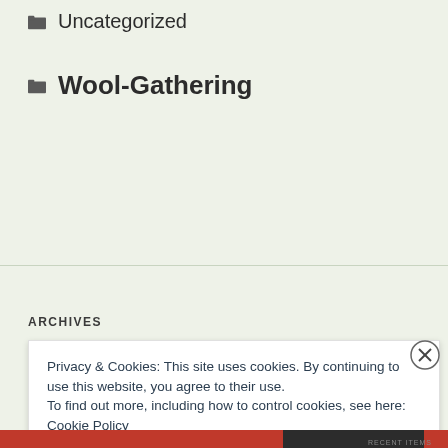Uncategorized
Wool-Gathering
ARCHIVES
Privacy & Cookies: This site uses cookies. By continuing to use this website, you agree to their use.
To find out more, including how to control cookies, see here: Cookie Policy
Close and accept